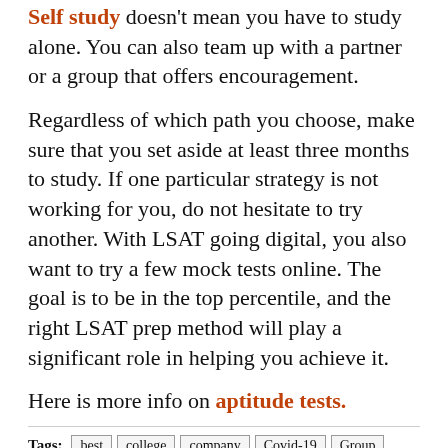Self study doesn't mean you have to study alone. You can also team up with a partner or a group that offers encouragement.
Regardless of which path you choose, make sure that you set aside at least three months to study. If one particular strategy is not working for you, do not hesitate to try another. With LSAT going digital, you also want to try a few mock tests online. The goal is to be in the top percentile, and the right LSAT prep method will play a significant role in helping you achieve it.
Here is more info on aptitude tests.
Tags: best  college  company  Covid-19  Group  How to Choose the Right LSAT Prep Method for you?  law  LSAT Prep  online  private  stress  study  training